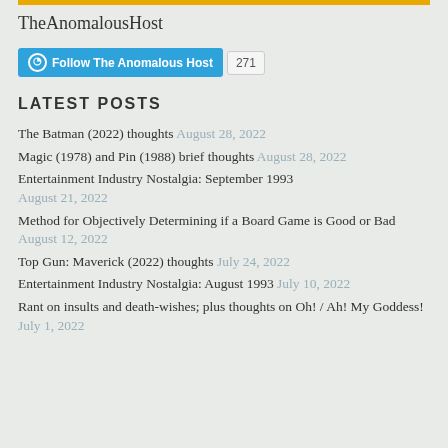TheAnomalousHost
[Figure (other): Follow The Anomalous Host button with 271 followers count]
LATEST POSTS
The Batman (2022) thoughts August 28, 2022
Magic (1978) and Pin (1988) brief thoughts August 28, 2022
Entertainment Industry Nostalgia: September 1993 August 21, 2022
Method for Objectively Determining if a Board Game is Good or Bad August 12, 2022
Top Gun: Maverick (2022) thoughts July 24, 2022
Entertainment Industry Nostalgia: August 1993 July 10, 2022
Rant on insults and death-wishes; plus thoughts on Oh! / Ah! My Goddess! July 1, 2022